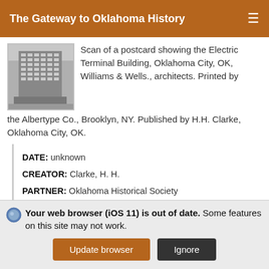The Gateway to Oklahoma History
[Figure (photo): Thumbnail photo of the Electric Terminal Building, Oklahoma City, OK — black and white postcard image of a tall multi-story building]
Scan of a postcard showing the Electric Terminal Building, Oklahoma City, OK, Williams & Wells., architects. Printed by the Albertype Co., Brooklyn, NY. Published by H.H. Clarke, Oklahoma City, OK.
DATE: unknown
CREATOR: Clarke, H. H.
PARTNER: Oklahoma Historical Society
[Figure (screenshot): Partial thumbnail of a second item — U.S. Post Office]
Your web browser (iOS 11) is out of date. Some features on this site may not work.